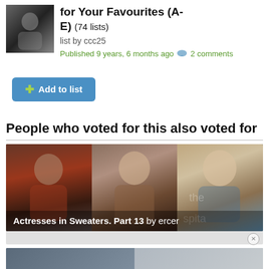[Figure (photo): Thumbnail photo of a person in dark clothing]
for Your Favourites (A-E) (74 lists) list by ccc25
Published 9 years, 6 months ago 💬 2 comments
➕ Add to list
People who voted for this also voted for
[Figure (photo): Photo strip showing three actresses. Caption reads: Actresses in Sweaters. Part 13 by ercer]
Actresses in Sweaters. Part 13 by ercer